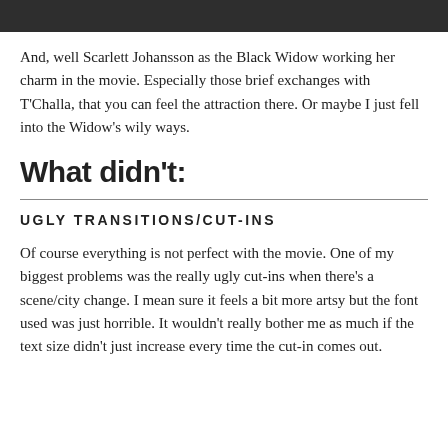And, well Scarlett Johansson as the Black Widow working her charm in the movie. Especially those brief exchanges with T'Challa, that you can feel the attraction there. Or maybe I just fell into the Widow's wily ways.
What didn't:
UGLY TRANSITIONS/CUT-INS
Of course everything is not perfect with the movie. One of my biggest problems was the really ugly cut-ins when there's a scene/city change. I mean sure it feels a bit more artsy but the font used was just horrible. It wouldn't really bother me as much if the text size didn't just increase every time the cut-in comes out.